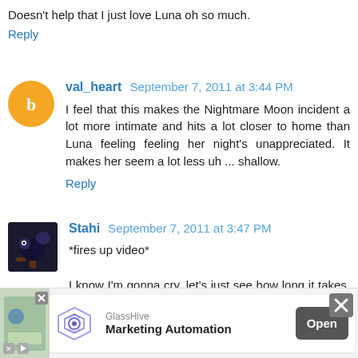Doesn't help that I just love Luna oh so much.
Reply
val_heart  September 7, 2011 at 3:44 PM
I feel that this makes the Nightmare Moon incident a lot more intimate and hits a lot closer to home than Luna feeling feeling her night's unappreciated. It makes her seem a lot less uh ... shallow.
Reply
Stahi  September 7, 2011 at 3:47 PM
*fires up video*

I know I'm gonna cry, let's just see how long it takes. Ok, there's baby Luna, a-- Oh God she just looked up. *bam, cry*
Reply
[Figure (infographic): Advertisement banner for GlassHive Marketing Automation with Open button and close X button]